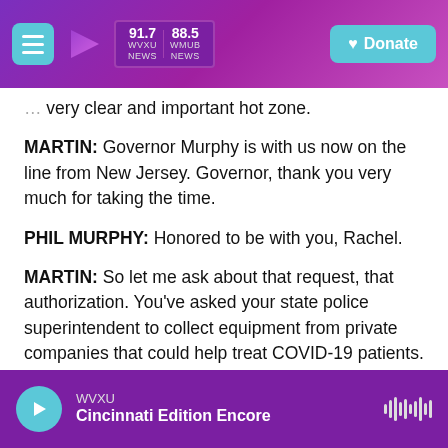WVXU 91.7 NEWS | 88.5 WMUB NEWS | Donate
very clear and important hot zone.
MARTIN: Governor Murphy is with us now on the line from New Jersey. Governor, thank you very much for taking the time.
PHIL MURPHY: Honored to be with you, Rachel.
MARTIN: So let me ask about that request, that authorization. You've asked your state police superintendent to collect equipment from private companies that could help treat COVID-19 patients. Those companies are now required to
WVXU | Cincinnati Edition Encore